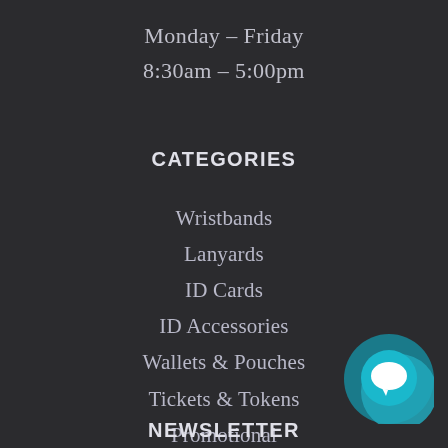Monday – Friday
8:30am – 5:00pm
CATEGORIES
Wristbands
Lanyards
ID Cards
ID Accessories
Wallets & Pouches
Tickets & Tokens
Promotional
RFID
Printing
NEWSLETTER
[Figure (illustration): Teal circular chat/message bubble icon in bottom-right corner]